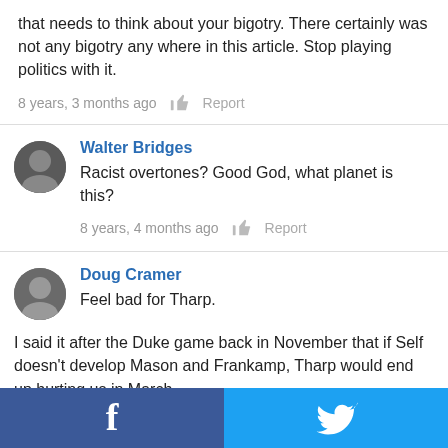that needs to think about your bigotry. There certainly was not any bigotry any where in this article. Stop playing politics with it.
8 years, 3 months ago  Report
Walter Bridges
Racist overtones? Good God, what planet is this?
8 years, 4 months ago  Report
Doug Cramer
Feel bad for Tharp.

I said it after the Duke game back in November that if Self doesn't develop Mason and Frankamp, Tharp would end up hurting us in March.